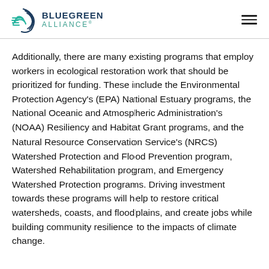BLUEGREEN ALLIANCE
Additionally, there are many existing programs that employ workers in ecological restoration work that should be prioritized for funding. These include the Environmental Protection Agency's (EPA) National Estuary programs, the National Oceanic and Atmospheric Administration's (NOAA) Resiliency and Habitat Grant programs, and the Natural Resource Conservation Service's (NRCS) Watershed Protection and Flood Prevention program, Watershed Rehabilitation program, and Emergency Watershed Protection programs. Driving investment towards these programs will help to restore critical watersheds, coasts, and floodplains, and create jobs while building community resilience to the impacts of climate change.